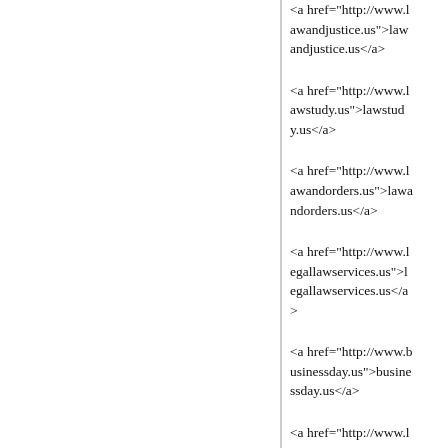<a href="http://www.lawandjustice.us">lawandjustice.us</a>
<a href="http://www.lawstudy.us">lawstudy.us</a>
<a href="http://www.lawandorders.us">lawandorders.us</a>
<a href="http://www.legallawservices.us">legallawservices.us</a>
<a href="http://www.businessday.us">businessday.us</a>
<a href="http://www.localbusinessplan.us">localbusinessplan.us</a>